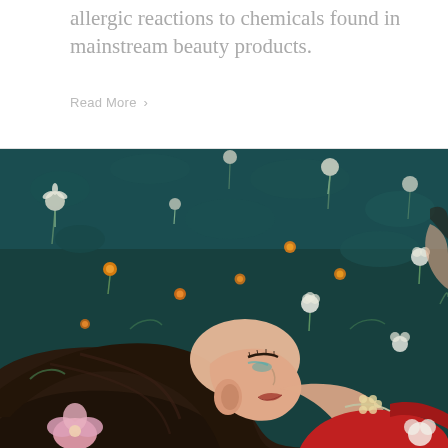allergic reactions to chemicals found in mainstream beauty products.
Read More >
[Figure (photo): A woman with dark hair lying on her back among flowers and clover on a dark teal ground, wearing a red top, with flowers around her and a bracelet visible, eyes closed, face tilted upward.]